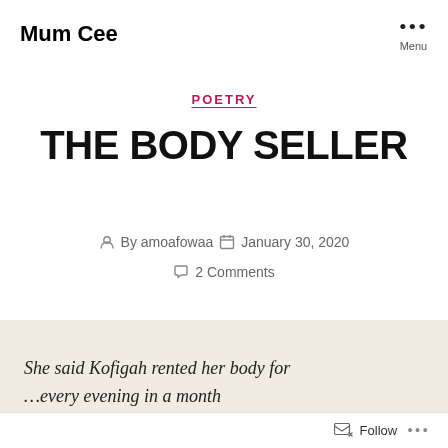Mum Cee
POETRY
THE BODY SELLER
By amoafowaa   January 30, 2020   2 Comments
She said Kofigah rented her body for …every evening in a month